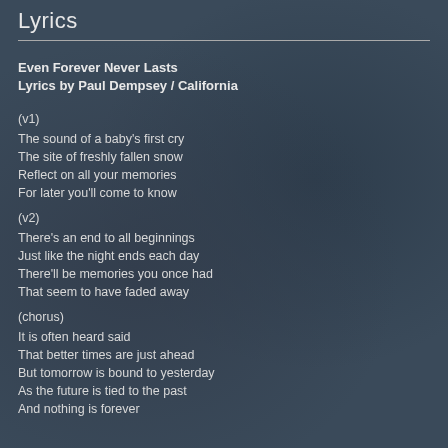Lyrics
Even Forever Never Lasts
Lyrics by Paul Dempsey / California
(v1)
The sound of a baby's first cry
The site of freshly fallen snow
Reflect on all your memories
For later you'll come to know
(v2)
There's an end to all beginnings
Just like the night ends each day
There'll be memories you once had
That seem to have faded away
(chorus)
It is often heard said
That better times are just ahead
But tomorrow is bound to yesterday
As the future is tied to the past
And nothing is forever